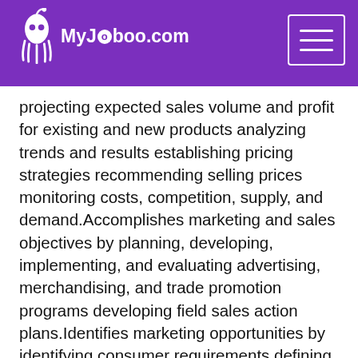MyJoboo.com
projecting expected sales volume and profit for existing and new products analyzing trends and results establishing pricing strategies recommending selling prices monitoring costs, competition, supply, and demand.Accomplishes marketing and sales objectives by planning, developing, implementing, and evaluating advertising, merchandising, and trade promotion programs developing field sales action plans.Identifies marketing opportunities by identifying consumer requirements defining market, competitors share, and competitors strengths and weaknesses forecasting projected business establishing targeted market share.Improves product marketability and profitability by researching, identifying, and capitalizing on market opportunities improving product packaging coordinating new product development.Sustains rapport with key accounts by making periodic visits exploring specific needs anticipating new opportunities.Provides information by collecting, analyzing, and summarizing data and trends.Protects organizations value by keeping information confidential.Updates job knowledge by participating in